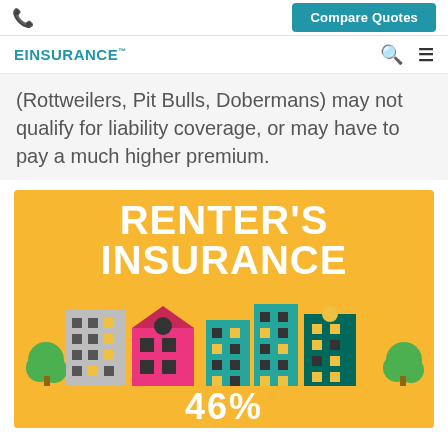Compare Quotes
EINSURANCE
(Rottweilers, Pit Bulls, Dobermans) may not qualify for liability coverage, or may have to pay a much higher premium.
[Figure (infographic): Renter's Insurance infographic with illustrated buildings (gray high-rise, pink building, teal buildings, dark teal building) and trees on an orange/yellow background, showing '46%' at the bottom.]